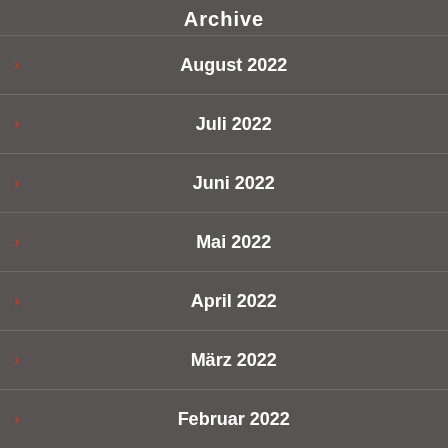Archive
August 2022
Juli 2022
Juni 2022
Mai 2022
April 2022
März 2022
Februar 2022
Januar 2022
Dezember 2021